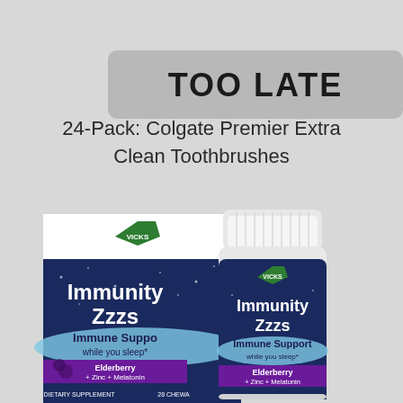TOO LATE
24-Pack: Colgate Premier Extra Clean Toothbrushes
[Figure (photo): Product photo of Vicks Immunity Zzzs supplement — showing a box and a bottle side by side. The box reads 'VICKS Immunity Zzzs Immune Support while you sleep* Elderberry + Zinc + Melatonin DIETARY SUPPLEMENT 28 CHEWABLES'. The bottle displays the same branding: 'VICKS Immunity Zzzs Immune Support while you sleep* Elderberry + Zinc + Melatonin'.]